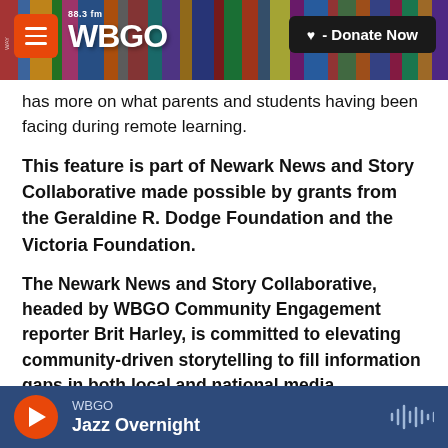88.3fm WBGO | Donate Now
has more on what parents and students having been facing during remote learning.
This feature is part of Newark News and Story Collaborative made possible by grants from the Geraldine R. Dodge Foundation and the Victoria Foundation.
The Newark News and Story Collaborative, headed by WBGO Community Engagement reporter Brit Harley, is committed to elevating community-driven storytelling to fill information gaps in both local and national media.
WBGO
Jazz Overnight